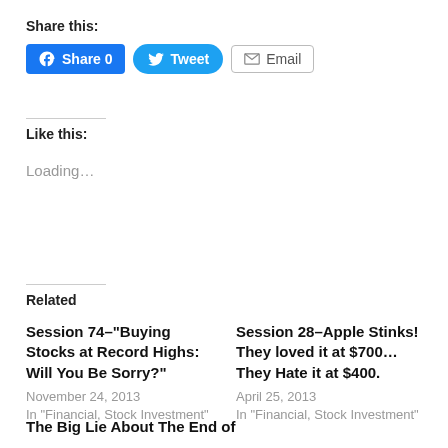Share this:
[Figure (screenshot): Social sharing buttons: Facebook Share 0, Tweet, Email]
Like this:
Loading...
Related
Session 74–"Buying Stocks at Record Highs: Will You Be Sorry?"
November 24, 2013
In "Financial, Stock Investment"
Session 28–Apple Stinks! They loved it at $700...They Hate it at $400.
April 25, 2013
In "Financial, Stock Investment"
The Big Lie About The End of